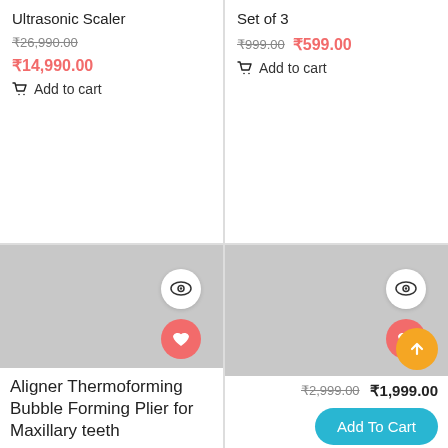Ultrasonic Scaler
₹26,990.00 ₹14,990.00
Add to cart
Set of 3
₹999.00 ₹599.00
Add to cart
[Figure (photo): Product image placeholder (gray rectangle) with eye icon and heart icon buttons, left bottom product card]
[Figure (photo): Product image placeholder (gray rectangle) with eye icon and heart icon buttons, right bottom product card]
Aligner Thermoforming Bubble Forming Plier for Maxillary teeth
₹2,999.00 ₹1,999.00
Add To Cart